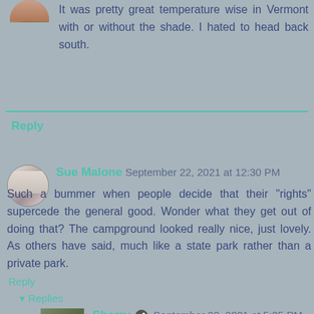[Figure (photo): Small circular avatar photo of a person, partially visible at top of page]
It was pretty great temperature wise in Vermont with or without the shade. I hated to head back south.
Reply
[Figure (photo): Small circular avatar photo of Sue Malone, woman with white/grey hair]
Sue Malone  September 22, 2021 at 12:30 PM
Such a bummer when people decide that their "rights" supercede the general good. Wonder what they get out of doing that? The campground looked really nice, just lovely. As others have said, much like a state park rather than a private park.
Reply
▼ Replies
[Figure (photo): Small square avatar photo of Sherry, person wearing a hat]
Sherry  September 22, 2021 at 5:25 PM
Absolutely Sue. Take vaccinations as another example. What do they get out of refusing to get